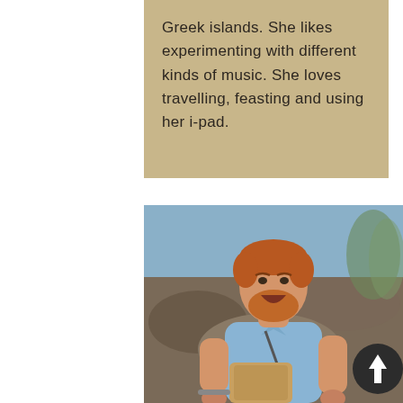Greek islands. She likes experimenting with different kinds of music. She loves travelling, feasting and using her i-pad.
[Figure (photo): A smiling young man with red hair and beard, wearing a light blue shirt, holding a musical instrument (drum), photographed outdoors with rocky landscape in background.]